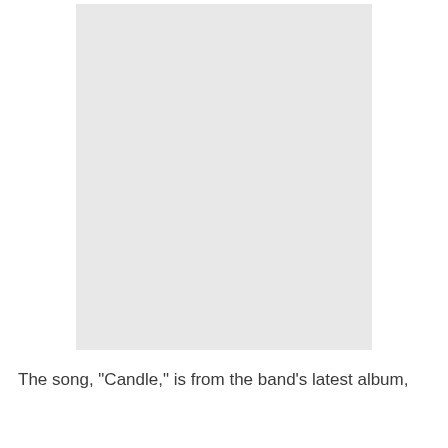[Figure (photo): A large light gray rectangular image placeholder occupying the upper portion of the page.]
The song, "Candle," is from the band's latest album,